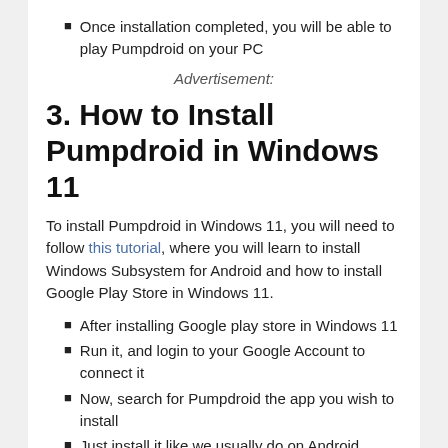Once installation completed, you will be able to play Pumpdroid on your PC
Advertisement:
3. How to Install Pumpdroid in Windows 11
To install Pumpdroid in Windows 11, you will need to follow this tutorial, where you will learn to install Windows Subsystem for Android and how to install Google Play Store in Windows 11.
After installing Google play store in Windows 11
Run it, and login to your Google Account to connect it
Now, search for Pumpdroid the app you wish to install
Just install it like we usually do on Android